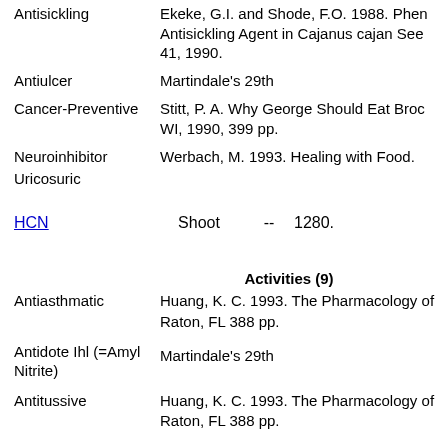Antisickling
Ekeke, G.I. and Shode, F.O. 1988. Phen... Antisickling Agent in Cajanus cajan See... 41, 1990.
Antiulcer
Martindale's 29th
Cancer-Preventive
Stitt, P. A. Why George Should Eat Broc... WI, 1990, 399 pp.
Neuroinhibitor
Werbach, M. 1993. Healing with Food.
Uricosuric
HCN   Shoot   --   1280.
Activities (9)
Antiasthmatic
Huang, K. C. 1993. The Pharmacology of... Raton, FL 388 pp.
Antidote Ihl (=Amyl Nitrite)
Martindale's 29th
Antitussive
Huang, K. C. 1993. The Pharmacology of... Raton, FL 388 pp.